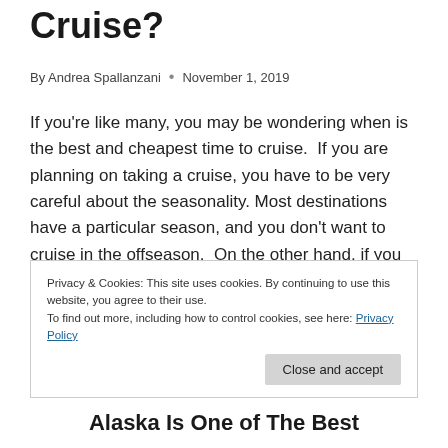Cruise?
By Andrea Spallanzani • November 1, 2019
If you're like many, you may be wondering when is the best and cheapest time to cruise.  If you are planning on taking a cruise, you have to be very careful about the seasonality. Most destinations have a particular season, and you don't want to cruise in the offseason.  On the other hand, if you go on a cruise at the peak of the season, you will
Privacy & Cookies: This site uses cookies. By continuing to use this website, you agree to their use.
To find out more, including how to control cookies, see here: Privacy Policy
Alaska Is One of The Best